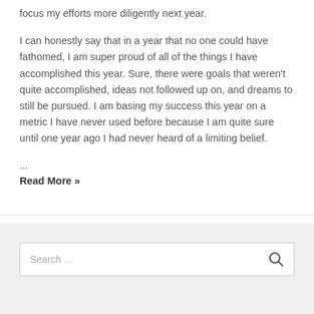focus my efforts more diligently next year.
I can honestly say that in a year that no one could have fathomed, I am super proud of all of the things I have accomplished this year. Sure, there were goals that weren't quite accomplished, ideas not followed up on, and dreams to still be pursued. I am basing my success this year on a metric I have never used before because I am quite sure until one year ago I had never heard of a limiting belief.
...
Read More »